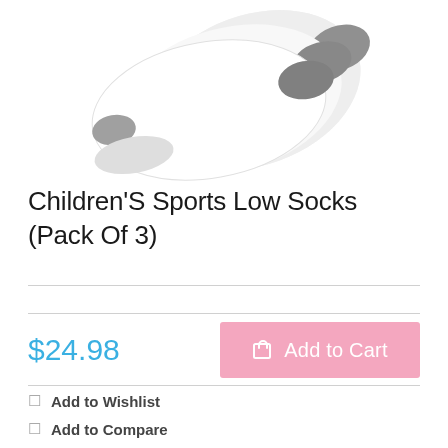[Figure (photo): Product photo of white and grey children's sports low socks, shown from above, partially cropped at top of page]
Children'S Sports Low Socks (Pack Of 3)
$24.98
Add to Cart
Add to Wishlist
Add to Compare